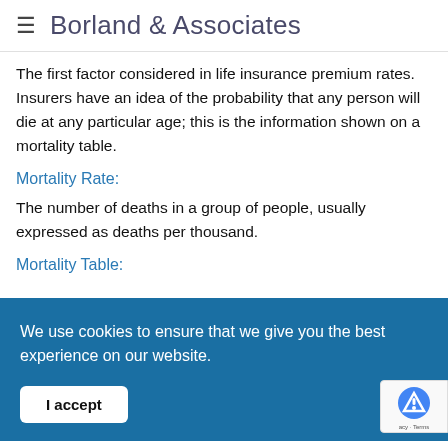≡ Borland & Associates
The first factor considered in life insurance premium rates. Insurers have an idea of the probability that any person will die at any particular age; this is the information shown on a mortality table.
Mortality Rate:
The number of deaths in a group of people, usually expressed as deaths per thousand.
Mortality Table:
We use cookies to ensure that we give you the best experience on our website.
mortgage upon the death of the insured.